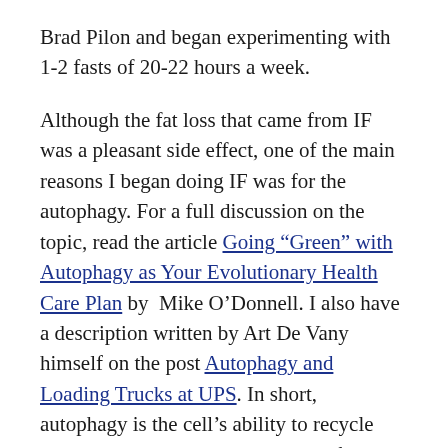Brad Pilon and began experimenting with 1-2 fasts of 20-22 hours a week.
Although the fat loss that came from IF was a pleasant side effect, one of the main reasons I began doing IF was for the autophagy. For a full discussion on the topic, read the article Going “Green” with Autophagy as Your Evolutionary Health Care Plan by Mike O’Donnell. I also have a description written by Art De Vany himself on the post Autophagy and Loading Trucks at UPS. In short, autophagy is the cell’s ability to recycle damaged material when deprived of nutrients.
Sounds wonderful, right? It might only be half the equation though.